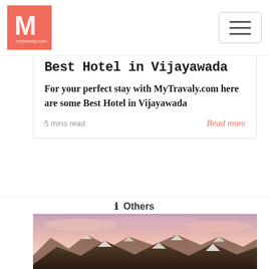MyTravaly.com logo and navigation menu
Best Hotel in Vijayawada
For your perfect stay with MyTravaly.com here are some Best Hotel in Vijayawada
5 mins read   Read more
ℹ Others
[Figure (photo): Mountain range with snow-capped peaks under a pink and blue sky at dusk/dawn]